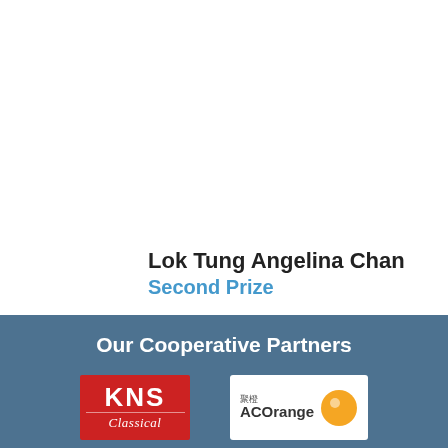Lok Tung Angelina Chan
Second Prize
Our Cooperative Partners
[Figure (logo): KNS Classical logo - red background with white bold KNS text and italic Classical script below]
[Figure (logo): ACOrange logo - white background with orange circle graphic and ACOrange brand name with Chinese characters above]